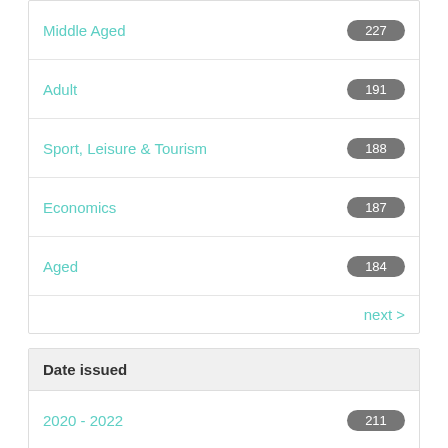Middle Aged 227
Adult 191
Sport, Leisure & Tourism 188
Economics 187
Aged 184
next >
Date issued
2020 - 2022 211
2010 - 2019 3035
2000 - 2009 1837
1990 - 1999 35